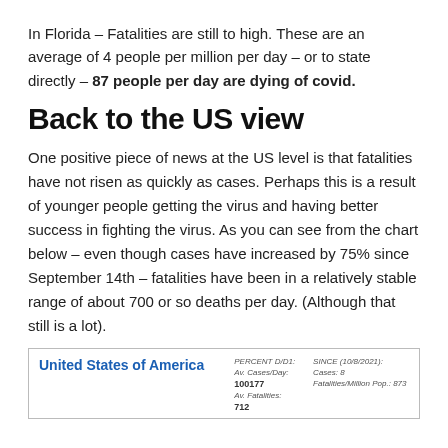In Florida – Fatalities are still to high. These are an average of 4 people per million per day – or to state directly – 87 people per day are dying of covid.
Back to the US view
One positive piece of news at the US level is that fatalities have not risen as quickly as cases. Perhaps this is a result of younger people getting the virus and having better success in fighting the virus. As you can see from the chart below – even though cases have increased by 75% since September 14th – fatalities have been in a relatively stable range of about 700 or so deaths per day. (Although that still is a lot).
[Figure (other): United States of America chart box with statistics: Av. Cases/Day: 100177, Av. Fatalities: 712, Since (10/8/2021): Cases: 8, Fatalities/Million Pop.: 873]